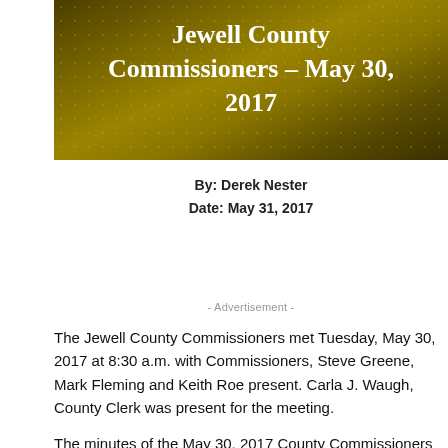[Figure (photo): Dark golden/olive colored background with textured dot pattern, used as decorative header image behind the title text]
Jewell County Commissioners – May 30, 2017
By:  Derek Nester
Date:  May 31, 2017
- Advertisement -
The Jewell County Commissioners met Tuesday, May 30, 2017 at 8:30 a.m. with Commissioners, Steve Greene, Mark Fleming and Keith Roe present. Carla J. Waugh, County Clerk was present for the meeting.
The minutes of the May 30, 2017 County Commissioners…